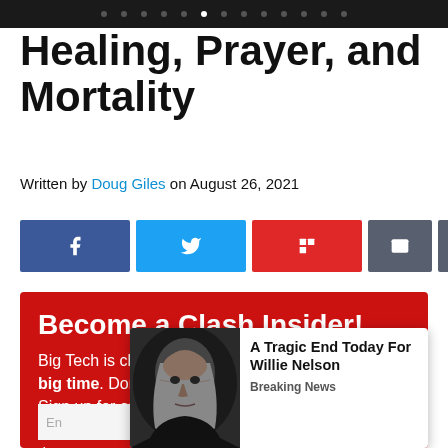· · · · · · · · · · · · · · · · (navigation dots)
Healing, Prayer, and Mortality
Written by Doug Giles on August 26, 2021
[Figure (infographic): Social sharing buttons: Facebook, Twitter, Flipboard, Email, Print]
[Figure (infographic): Red 'Become a Clash Insider!' promotional box with text: Big Tech is clamping down on conservative media big time. Don't let Big Tech pre-chew your news. Sign up for our free email newsletter in the...]
[Figure (infographic): Popup overlay with photo of Willie Nelson and headline 'A Tragic End Today For Willie Nelson' with category 'Breaking News']